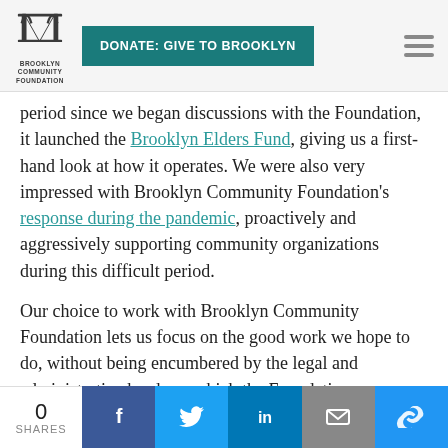[Figure (logo): Brooklyn Community Foundation logo with bridge icon and organization name below]
DONATE: GIVE TO BROOKLYN
period since we began discussions with the Foundation, it launched the Brooklyn Elders Fund, giving us a first-hand look at how it operates. We were also very impressed with Brooklyn Community Foundation's response during the pandemic, proactively and aggressively supporting community organizations during this difficult period.

Our choice to work with Brooklyn Community Foundation lets us focus on the good work we hope to do, without being encumbered by the legal and administrative burdens, which the Foundation
0
SHARES